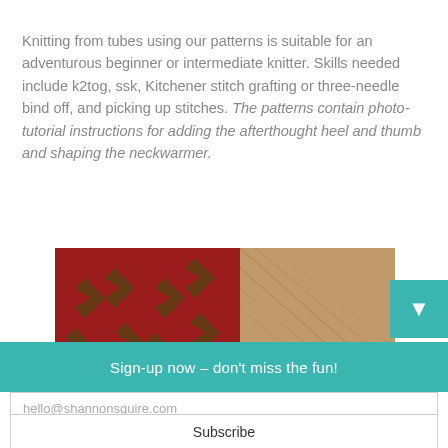Knitting from tubes using our patterns is suitable for an adventurous beginner or intermediate knitter. Skills needed include k2tog, ssk, Kitchener stitch grafting or three-needle bind off, and picking up stitches. The patterns contain photo-tutorial instructions for adding the afterthought heel and thumb and shaping the neckwarmer.
[Figure (photo): Photo of red fabric/knitting with Wonder Woman logo pattern on a wooden surface, with small orange flower visible]
Sign-up now – don't miss the fun!
hello@shannonsquire.com
Subscribe